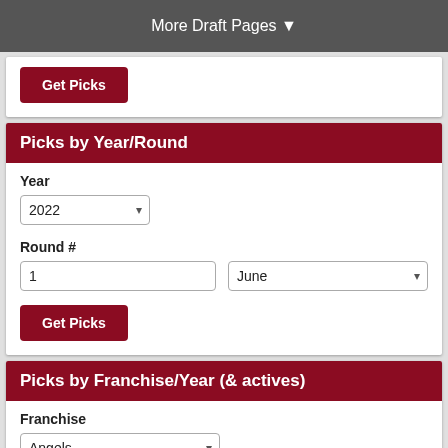More Draft Pages ▼
Get Picks
Picks by Year/Round
Year
2022
Round #
1
June
Get Picks
Picks by Franchise/Year (& actives)
Franchise
Angels